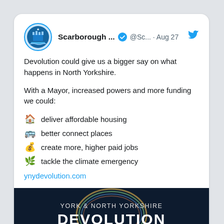[Figure (screenshot): Twitter/X tweet screenshot from Scarborough Council account dated Aug 27]
Devolution could give us a bigger say on what happens in North Yorkshire.

With a Mayor, increased powers and more funding we could:
🏠 deliver affordable housing
🚌 better connect places
💰 create more, higher paid jobs
🌿 tackle the climate emergency
ynydevolution.com
[Figure (illustration): Dark navy background banner with colourful ring graphic and text YORK & NORTH YORKSHIRE DEVOLUTION]